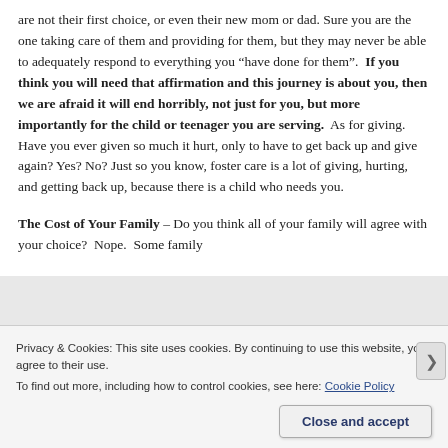are not their first choice, or even their new mom or dad. Sure you are the one taking care of them and providing for them, but they may never be able to adequately respond to everything you “have done for them”.  If you think you will need that affirmation and this journey is about you, then we are afraid it will end horribly, not just for you, but more importantly for the child or teenager you are serving.  As for giving.  Have you ever given so much it hurt, only to have to get back up and give again? Yes? No? Just so you know, foster care is a lot of giving, hurting, and getting back up, because there is a child who needs you.
The Cost of Your Family – Do you think all of your family will agree with your choice?  Nope.  Some family
Privacy & Cookies: This site uses cookies. By continuing to use this website, you agree to their use.
To find out more, including how to control cookies, see here: Cookie Policy